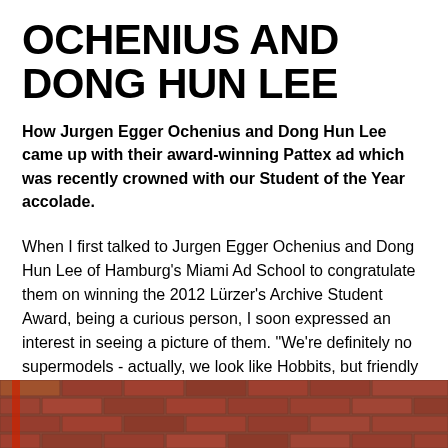OCHENIUS AND DONG HUN LEE
How Jurgen Egger Ochenius and Dong Hun Lee came up with their award-winning Pattex ad which was recently crowned with our Student of the Year accolade.
When I first talked to Jurgen Egger Ochenius and Dong Hun Lee of Hamburg's Miami Ad School to congratulate them on winning the 2012 Lürzer's Archive Student Award, being a curious person, I soon expressed an interest in seeing a picture of them. “We're definitely no supermodels - actually, we look like Hobbits, but friendly ones!” they said before sending me this:
[Figure (photo): Bottom strip showing a brick wall background, partially visible photo of two people]